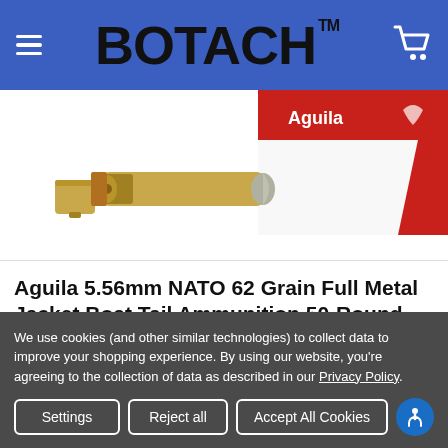BOTACH™
[Figure (photo): Product photo of Aguila 5.56mm NATO ammunition cartridges and red/white Aguila box]
Aguila 5.56mm NATO 62 Grain Full Metal Jacket Boat Tail Ammunition 50-Round
Only $29.98 FREE Shipping orders oner $100
[Figure (photo): Partial photo of a dark circular ring/scope product]
We use cookies (and other similar technologies) to collect data to improve your shopping experience. By using our website, you're agreeing to the collection of data as described in our Privacy Policy.